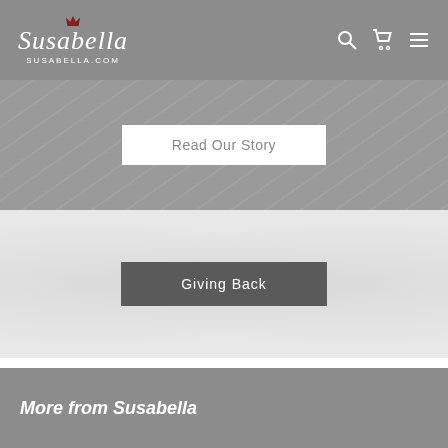Susabella - SUSABELLA.COM
[Figure (screenshot): Read Our Story button on grey textured background]
[Figure (screenshot): Giving Back button on light marble/grey background]
[Figure (screenshot): Reviews button on grey textured background]
More from Susabella